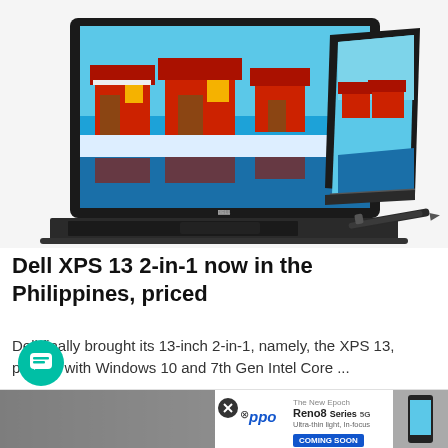[Figure (photo): Dell XPS 13 2-in-1 laptop shown in two positions: open laptop mode displaying red houses on a snowy waterfront wallpaper, and tent/stand mode showing the same wallpaper. A stylus pen is shown to the right.]
Dell XPS 13 2-in-1 now in the Philippines, priced
Dell finally brought its 13-inch 2-in-1, namely, the XPS 13, packed with Windows 10 and 7th Gen Intel Core ...
Yuga Tech
[Figure (screenshot): Advertisement banner for OPPO Reno8 Series 5G with 'COMING SOON' label and phone image on the right. A close button (X) and partial landscape photo visible on the left.]